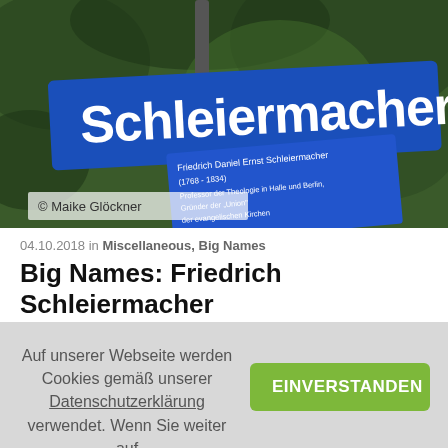[Figure (photo): Photo of a blue German street sign reading 'Schleiermacherstraße' with a smaller sign below showing Friedrich Daniel Ernst Schleiermacher's biographical details (1768-1834), mounted on a pole against a blurred green background. Photo credit: © Maike Glöckner]
04.10.2018 in Miscellaneous, Big Names
Big Names: Friedrich Schleiermacher
Auf unserer Webseite werden Cookies gemäß unserer Datenschutzerklärung verwendet. Wenn Sie weiter auf diesen Seiten surfen, erklären Sie sich damit einverstanden.
EINVERSTANDEN